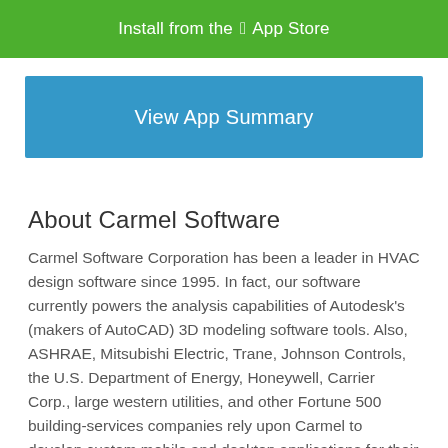[Figure (other): Green button bar: 'Install from the  App Store']
[Figure (other): Blue button bar: 'View App Summary']
About Carmel Software
Carmel Software Corporation has been a leader in HVAC design software since 1995. In fact, our software currently powers the analysis capabilities of Autodesk's (makers of AutoCAD) 3D modeling software tools. Also, ASHRAE, Mitsubishi Electric, Trane, Johnson Controls, the U.S. Department of Energy, Honeywell, Carrier Corp., large western utilities, and other Fortune 500 building-services companies rely upon Carmel to develop custom mobile and desktop applications for their clients. We currently